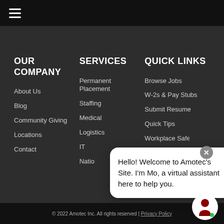☰ (hamburger menu)
OUR COMPANY
About Us
Blog
Community Giving
Locations
Contact
SERVICES
Permanent Placement
Staffing
Medical
Logistics
IT
Natio[nal — partially obscured]
QUICK LINKS
Browse Jobs
W-2s & Pay Stubs
Submit Resume
Quick Tips
Workplace Safety
Hello! Welcome to Amotec's Site. I'm Mo, a virtual assistant here to help you.
© 2022 Amotec Inc. All rights reserved | Privacy Policy